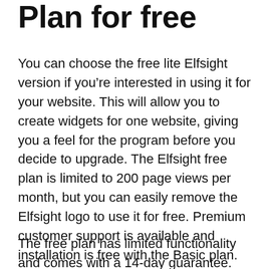Plan for free
You can choose the free lite Elfsight version if you're interested in using it for your website. This will allow you to create widgets for one website, giving you a feel for the program before you decide to upgrade. The Elfsight free plan is limited to 200 page views per month, but you can easily remove the Elfsight logo to use it for free. Premium customer support is available and installation is free with the Basic plan. You can also remove the Elfsight logo form your widgets. Elfsight offers a Pro plan that provides unlimited page views.
The free plan has limited functionality and comes with a 14-day guarantee. Elfsight is